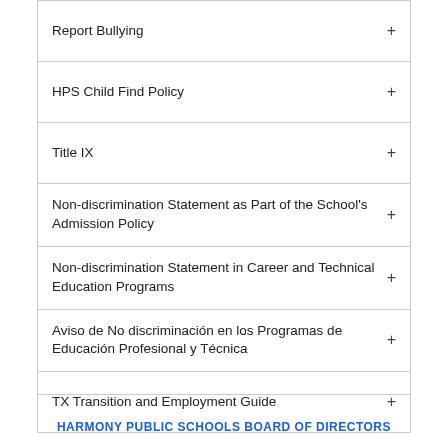Report Bullying +
HPS Child Find Policy +
Title IX +
Non-discrimination Statement as Part of the School's Admission Policy +
Non-discrimination Statement in Career and Technical Education Programs +
Aviso de No discriminación en los Programas de Educación Profesional y Técnica +
TX Transition and Employment Guide +
HARMONY PUBLIC SCHOOLS BOARD OF DIRECTORS